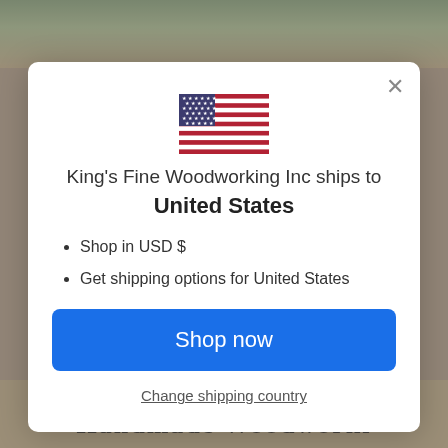[Figure (screenshot): Background showing woodworking tools on a wooden surface, partially obscured by modal overlay]
[Figure (illustration): US flag icon — stars and stripes]
King's Fine Woodworking Inc ships to United States
Shop in USD $
Get shipping options for United States
Shop now
Change shipping country